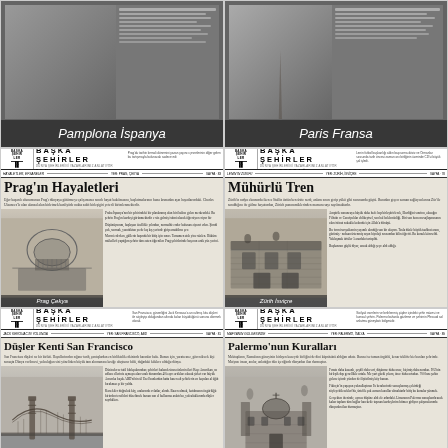[Figure (photo): Newspaper page thumbnail showing city content about Pamplona, Spain with dark overlay]
Pamplona İspanya
[Figure (photo): Newspaper page thumbnail showing city content about Paris, France with dark overlay]
Paris Fransa
[Figure (photo): Newspaper page Başka Şehirler about Prague Czech Republic - Prag'ın Hayaletleri with dome sketch]
Prag Çekya
[Figure (photo): Newspaper page Başka Şehirler about Zurich Switzerland - Mühürlü Tren with stone building sketch]
Zürih İsviçre
[Figure (photo): Newspaper page Başka Şehirler about San Francisco USA - Düşler Kenti San Francisco with Golden Gate Bridge sketch]
San Francisco ABD
[Figure (photo): Newspaper page Başka Şehirler about Palermo Italy - Palermo'nun Kuralları with church sketch]
Palermo İtalya